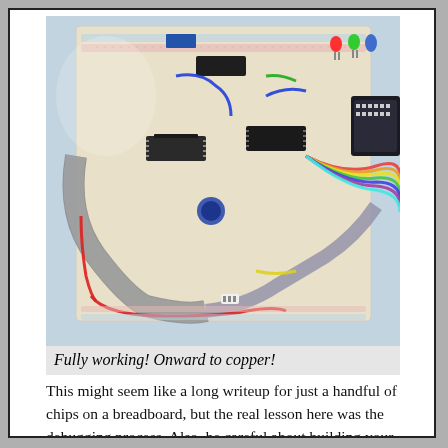[Figure (photo): A breadboard with multiple integrated circuit chips, ribbon cables (flat gray cable and rainbow ribbon cable), colored jumper wires (red, blue, green, yellow), LEDs (red and green), and what appears to be a connector or adapter on the right. The circuit appears to be a fully assembled working prototype on a white solderless breadboard placed on a blue surface.]
Fully working! Onward to copper!
This might seem like a long writeup for just a handful of chips on a breadboard, but the real lesson here was the debugging process. Also, be careful about building your own diagnostic tools unless you really